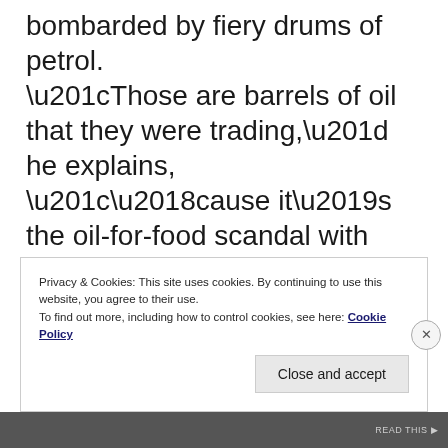bombarded by fiery drums of petrol. “Those are barrels of oil that they were trading,” he explains, “’cause it’s the oil-for-food scandal with Kofi Annan’s son. The barrels are lit on fire and they become the very undoing of the U.N.”
Privacy & Cookies: This site uses cookies. By continuing to use this website, you agree to their use. To find out more, including how to control cookies, see here: Cookie Policy
Close and accept